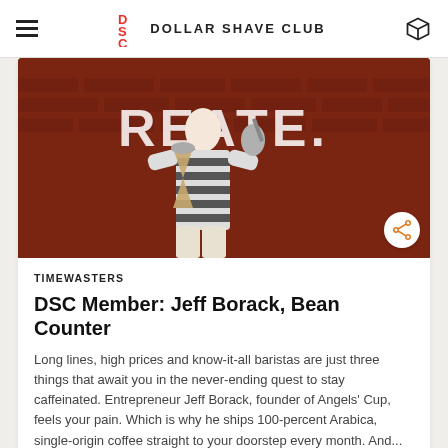DOLLAR SHAVE CLUB
[Figure (photo): Man in black and white striped shirt holding a pour-over coffee kettle and chemex, standing in front of a red brick wall with the word CREATE painted on it]
TIMEWASTERS
DSC Member: Jeff Borack, Bean Counter
Long lines, high prices and know-it-all baristas are just three things that await you in the never-ending quest to stay caffeinated. Entrepreneur Jeff Borack, founder of Angels' Cup, feels your pain. Which is why he ships 100-percent Arabica, single-origin coffee straight to your doorstep every month. And...
IAN LECKLITNER / 6 YEARS AGO